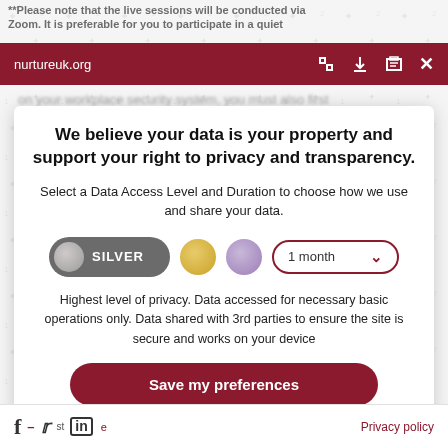**Please note that the live sessions will be conducted via Zoom. It is preferable for you to participate in a quiet...
nurtureuk.org
on your workplace security system, you must also first
We believe your data is your property and support your right to privacy and transparency.
Select a Data Access Level and Duration to choose how we use and share your data.
[Figure (infographic): Privacy level selector showing SILVER button (dark grey pill with grey circle), a gold circle, a purple circle, and a '1 month' dropdown with dark red border]
Highest level of privacy. Data accessed for necessary basic operations only. Data shared with 3rd parties to ensure the site is secure and works on your device
Save my preferences
Privacy policy